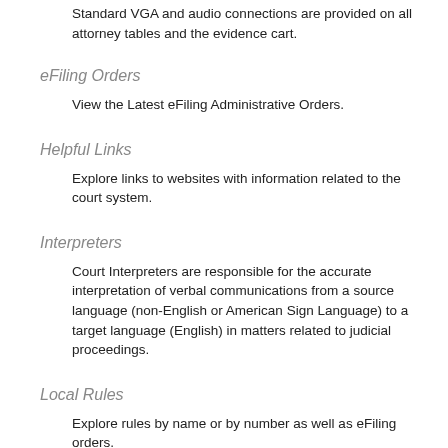Standard VGA and audio connections are provided on all attorney tables and the evidence cart.
eFiling Orders
View the Latest eFiling Administrative Orders.
Helpful Links
Explore links to websites with information related to the court system.
Interpreters
Court Interpreters are responsible for the accurate interpretation of verbal communications from a source language (non-English or American Sign Language) to a target language (English) in matters related to judicial proceedings.
Local Rules
Explore rules by name or by number as well as eFiling orders.